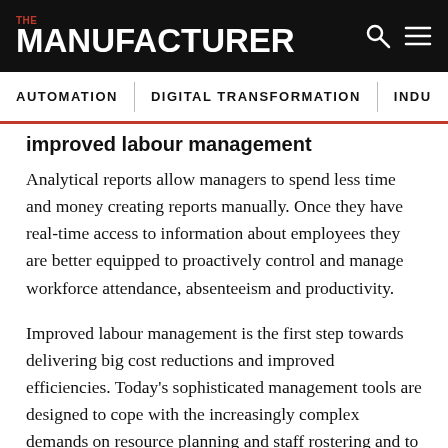THE MANUFACTURER
improved labour management
Analytical reports allow managers to spend less time and money creating reports manually. Once they have real-time access to information about employees they are better equipped to proactively control and manage workforce attendance, absenteeism and productivity.
Improved labour management is the first step towards delivering big cost reductions and improved efficiencies. Today's sophisticated management tools are designed to cope with the increasingly complex demands on resource planning and staff rostering and to analyse business critical information such as the productivity of specific departments within a factory or cost centres